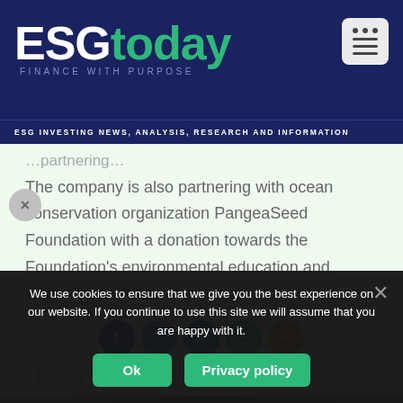[Figure (logo): ESGtoday logo with tagline FINANCE WITH PURPOSE on dark navy background]
ESG INVESTING NEWS, ANALYSIS, RESEARCH AND INFORMATION
The company is also partnering with ocean conservation organization PangeaSeed Foundation with a donation towards the Foundation's environmental education and awareness efforts.
[Figure (infographic): Social share icons: Facebook, Twitter, LinkedIn, Email, More]
Don't miss top ESG stories!
[Figure (photo): Green botanical image strip with Economist badge]
Subscribe now below!
We use cookies to ensure that we give you the best experience on our website. If you continue to use this site we will assume that you are happy with it.
Ok | Privacy policy